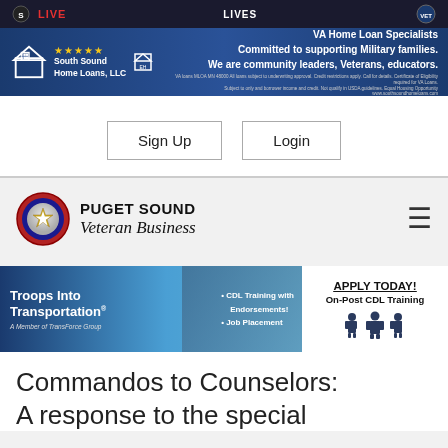[Figure (screenshot): Top dark header banner with LIVE text in red and LIVES text on right side]
[Figure (screenshot): VA Home Loan Specialists ad banner - South Sound Home Loans LLC with 5 stars, blue gradient background. Text: VA Home Loan Specialists, Committed to supporting Military families. We are community leaders, Veterans, educators.]
Sign Up
Login
[Figure (logo): Puget Sound Veteran Business logo - circular shield with star, PUGET SOUND in bold caps and Veteran Business in italic script]
[Figure (screenshot): Troops Into Transportation banner ad - CDL Training with Endorsements, Job Placement, APPLY TODAY! On-Post CDL Training]
Commandos to Counselors: A response to the special